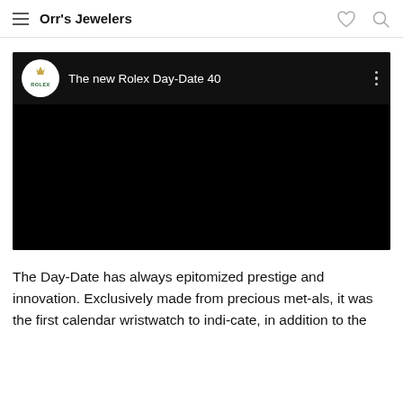Orr's Jewelers
[Figure (screenshot): YouTube-style video embed showing Rolex logo and title 'The new Rolex Day-Date 40' on a black background]
The Day-Date has always epitomized prestige and innovation. Exclusively made from precious met-als, it was the first calendar wristwatch to indi-cate, in addition to the